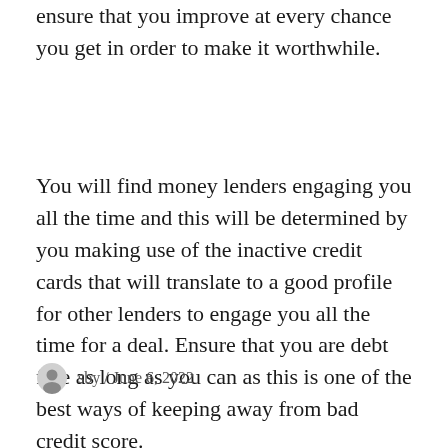ensure that you improve at every chance you get in order to make it worthwhile.
You will find money lenders engaging you all the time and this will be determined by you making use of the inactive credit cards that will translate to a good profile for other lenders to engage you all the time for a deal. Ensure that you are debt free as long as you can as this is one of the best ways of keeping away from bad credit score.
sby / June 6, 2022